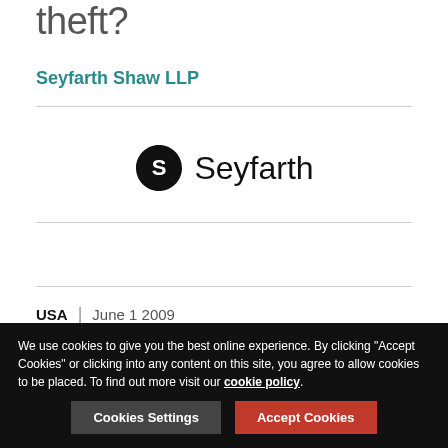theft?
Seyfarth Shaw LLP
[Figure (logo): Seyfarth logo with stylized S icon and wordmark 'Seyfarth']
USA | June 1 2009
On April 30, 2009, the Federal Trade Commission (FTC) issued a press release that it would delay enforcement of the new regulations from May 1, 2009 to August 1, 2009.
We use cookies to give you the best online experience. By clicking "Accept Cookies" or clicking into any content on this site, you agree to allow cookies to be placed. To find out more visit our cookie policy.